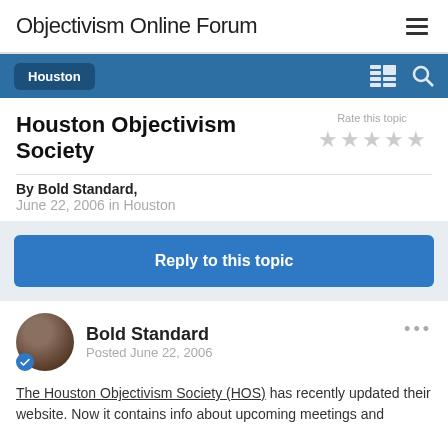Objectivism Online Forum
Houston Objectivism Society
Rate this topic
By Bold Standard,
June 22, 2006 in Houston
Reply to this topic
Bold Standard
Posted June 22, 2006
The Houston Objectivism Society (HOS) has recently updated their website. Now it contains info about upcoming meetings and